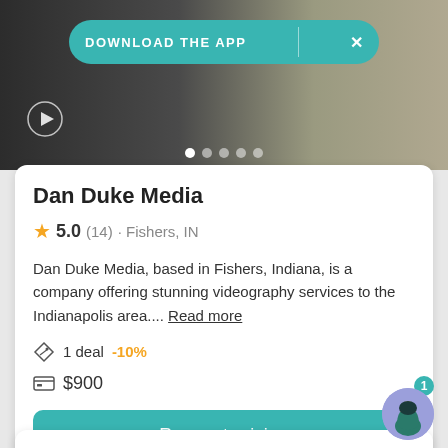[Figure (screenshot): Top photo area showing a person, partially visible, with dark background]
DOWNLOAD THE APP
Dan Duke Media
5.0 (14) · Fishers, IN
Dan Duke Media, based in Fishers, Indiana, is a company offering stunning videography services to the Indianapolis area.... Read more
1 deal -10%
$900
Request pricing